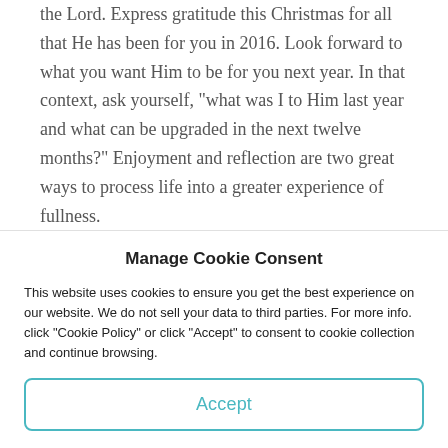the Lord. Express gratitude this Christmas for all that He has been for you in 2016. Look forward to what you want Him to be for you next year. In that context, ask yourself, "what was I to Him last year and what can be upgraded in the next twelve months?" Enjoyment and reflection are two great ways to process life into a greater experience of fullness.
Enjoy your time with family and friends and please look
Manage Cookie Consent
This website uses cookies to ensure you get the best experience on our website. We do not sell your data to third parties. For more info. click "Cookie Policy" or click "Accept" to consent to cookie collection and continue browsing.
Accept